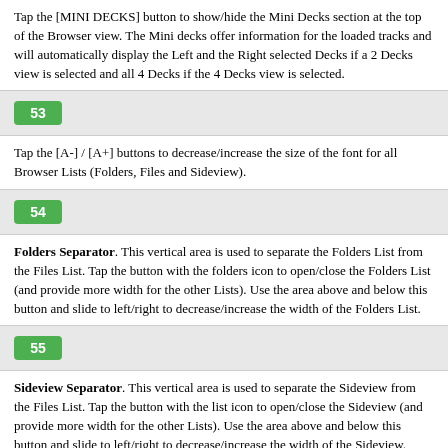Tap the [MINI DECKS] button to show/hide the Mini Decks section at the top of the Browser view. The Mini decks offer information for the loaded tracks and will automatically display the Left and the Right selected Decks if a 2 Decks view is selected and all 4 Decks if the 4 Decks view is selected.
[Figure (other): Green badge with number 53]
Tap the [A-] / [A+] buttons to decrease/increase the size of the font for all Browser Lists (Folders, Files and Sideview).
[Figure (other): Green badge with number 54]
Folders Separator. This vertical area is used to separate the Folders List from the Files List. Tap the button with the folders icon to open/close the Folders List (and provide more width for the other Lists). Use the area above and below this button and slide to left/right to decrease/increase the width of the Folders List.
[Figure (other): Green badge with number 55]
Sideview Separator. This vertical area is used to separate the Sideview from the Files List. Tap the button with the list icon to open/close the Sideview (and provide more width for the other Lists). Use the area above and below this button and slide to left/right to decrease/increase the width of the Sideview.